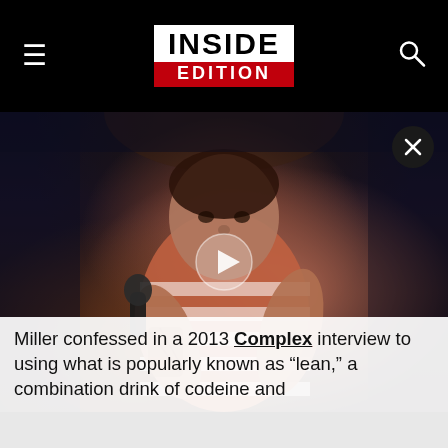INSIDE EDITION
[Figure (photo): A male rapper performing on stage, holding a microphone, wearing a red and white striped shirt, with tattoos visible on his arm. Dark stage background with dramatic lighting. Play button overlay in center. Close (X) button in top right.]
Miller confessed in a 2013 Complex interview to using what is popularly known as “lean,” a combination drink of codeine and